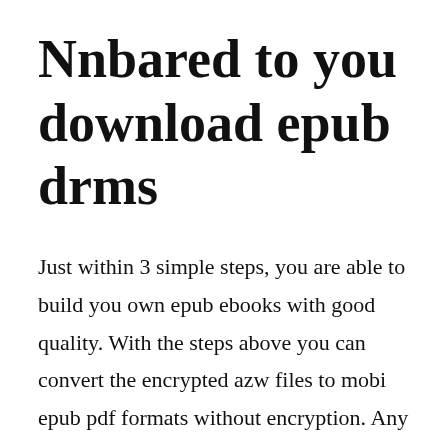Nnbared to you download epub drms
Just within 3 simple steps, you are able to build you own epub ebooks with good quality. With the steps above you can convert the encrypted azw files to mobi epub pdf formats without encryption. Any resemblance to actual persons living or dead, locales, orevents is entirely coincidental. Epub 3, the